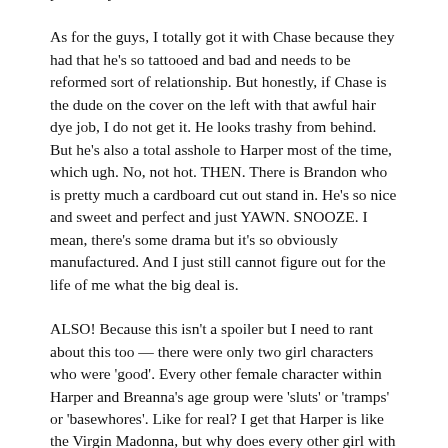practically comes down to brass knuckles.
As for the guys, I totally got it with Chase because they had that he's so tattooed and bad and needs to be reformed sort of relationship. But honestly, if Chase is the dude on the cover on the left with that awful hair dye job, I do not get it. He looks trashy from behind. But he's also a total asshole to Harper most of the time, which ugh. No, not hot. THEN. There is Brandon who is pretty much a cardboard cut out stand in. He's so nice and sweet and perfect and just YAWN. SNOOZE. I mean, there's some drama but it's so obviously manufactured. And I just still cannot figure out for the life of me what the big deal is.
ALSO! Because this isn't a spoiler but I need to rant about this too — there were only two girl characters who were 'good'. Every other female character within Harper and Breanna's age group were 'sluts' or 'tramps' or 'basewhores'. Like for real? I get that Harper is like the Virgin Madonna, but why does every other girl with sexual experience who just want to hook up have to be a whore? Like, that slut shaming is so stupid. I wish there were